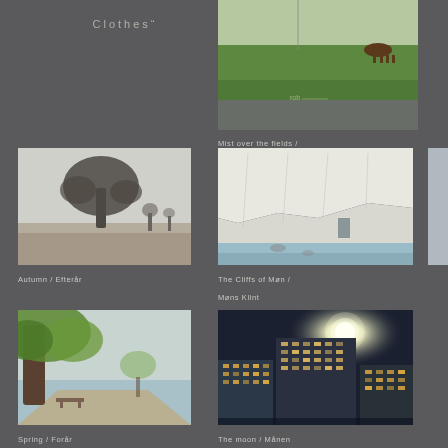[Figure (photo): Partial view of text 'Clothes' on dark background, top-left]
[Figure (photo): Mist over green fields with cattle, top-right]
Mist over the fields / Dis over markerne
[Figure (photo): Black and white photo of a lone tree in autumn landscape]
Autumn / Efterår
[Figure (photo): White chalk cliffs of Møn with beach at base]
The Cliffs of Møn / Møns Klint
[Figure (photo): Partial photo at right edge, cut off]
[Figure (photo): Tree by waterside in spring, green foliage]
Spring / Forår
[Figure (photo): City buildings at night with full moon]
The moon / Månen